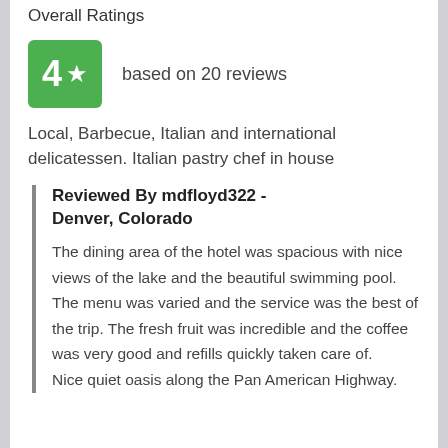Overall Ratings
[Figure (other): Green rating box showing '4' with a star icon, labeled 'based on 20 reviews']
Local, Barbecue, Italian and international delicatessen. Italian pastry chef in house
Reviewed By mdfloyd322 - Denver, Colorado
The dining area of the hotel was spacious with nice views of the lake and the beautiful swimming pool.
The menu was varied and the service was the best of the trip. The fresh fruit was incredible and the coffee was very good and refills quickly taken care of.
Nice quiet oasis along the Pan American Highway.